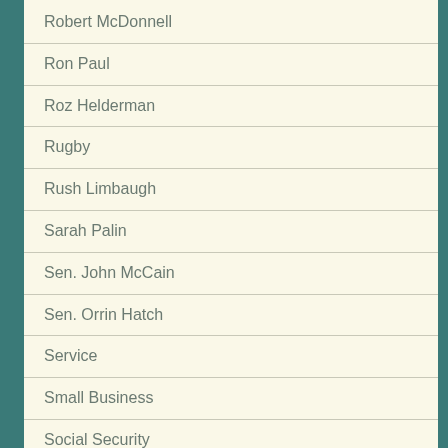Robert McDonnell
Ron Paul
Roz Helderman
Rugby
Rush Limbaugh
Sarah Palin
Sen. John McCain
Sen. Orrin Hatch
Service
Small Business
Social Security
Specter
Sports
St. Pete
Stanley McChrystal